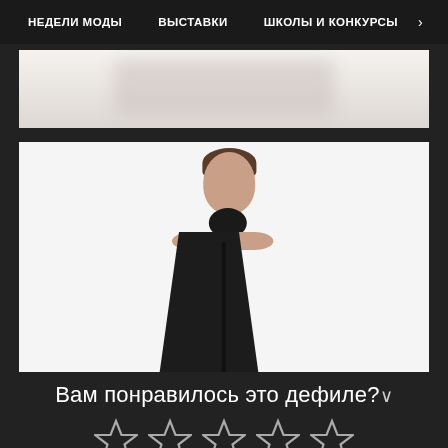НЕДЕЛИ МОДЫ   ВЫСТАВКИ   ШКОЛЫ И КОНКУРСЫ   >
[Figure (photo): Partial banner image showing blurred light background with objects]
[Figure (photo): Fashion model wearing a black sleeveless turtleneck top against a white background]
Вам понравилось это дефиле?
[Figure (other): Five star rating icons (outline stars, all white/grey)]